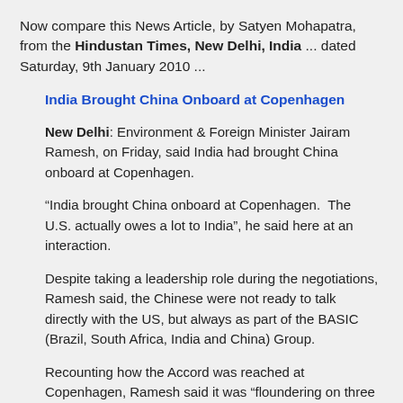Now compare this News Article, by Satyen Mohapatra, from the Hindustan Times, New Delhi, India ... dated Saturday, 9th January 2010 ...
India Brought China Onboard at Copenhagen
New Delhi: Environment & Foreign Minister Jairam Ramesh, on Friday, said India had brought China onboard at Copenhagen.
“India brought China onboard at Copenhagen.  The U.S. actually owes a lot to India”, he said here at an interaction.
Despite taking a leadership role during the negotiations, Ramesh said, the Chinese were not ready to talk directly with the US, but always as part of the BASIC (Brazil, South Africa, India and China) Group.
Recounting how the Accord was reached at Copenhagen, Ramesh said it was “floundering on three issues: whether the goal of arresting greenhouse gas...